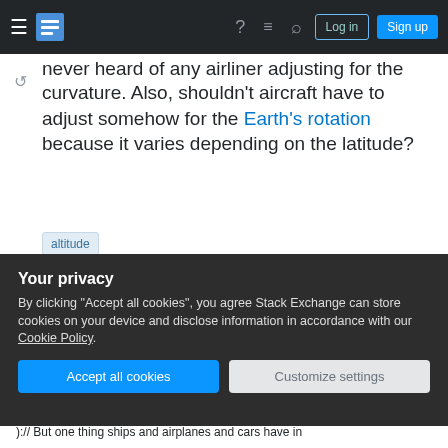Stack Exchange navigation bar with hamburger, logo, help, chat, search, Log in, Sign up
never heard of any airliner adjusting for the curvature. Also, shouldn't aircraft have to adjust somehow for the Earth's rotation because it varies depending on the latitude?
altitude
Share
Improve this question
Follow
edited May 20, 2016 at 20:57
Pondlife
70.4k 18 202 398
asked May 18, 2016 at 11:37
Your privacy
By clicking "Accept all cookies", you agree Stack Exchange can store cookies on your device and disclose information in accordance with our Cookie Policy.
Accept all cookies   Customize settings
):// But one thing ships and airplanes and cars have in common does... Luaan May 23, 2016 at 9:09